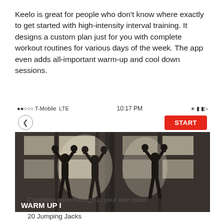Keelo is great for people who don't know where exactly to get started with high-intensity interval training. It designs a custom plan just for you with complete workout routines for various days of the week. The app even adds all-important warm-up and cool down sessions.
[Figure (screenshot): Mobile app screenshot showing a phone status bar (T-Mobile LTE, 10:17 PM), a back button and red START button, and a dark gym workout photo labeled WARM UP I showing people lifting kettlebells in a gym]
Complete once through at your own pace:
20 Jumping Jacks